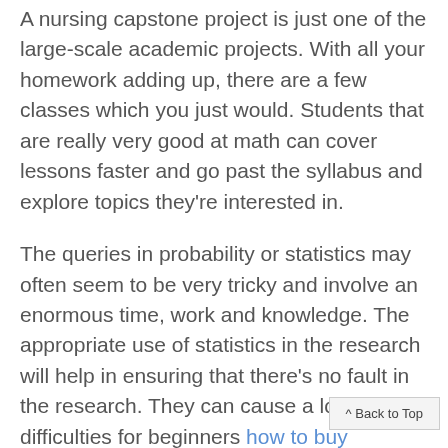A nursing capstone project is just one of the large-scale academic projects. With all your homework adding up, there are a few classes which you just would. Students that are really very good at math can cover lessons faster and go past the syllabus and explore topics they're interested in.
The queries in probability or statistics may often seem to be very tricky and involve an enormous time, work and knowledge. The appropriate use of statistics in the research will help in ensuring that there's no fault in the research. They can cause a lot of difficulties for beginners how to buy